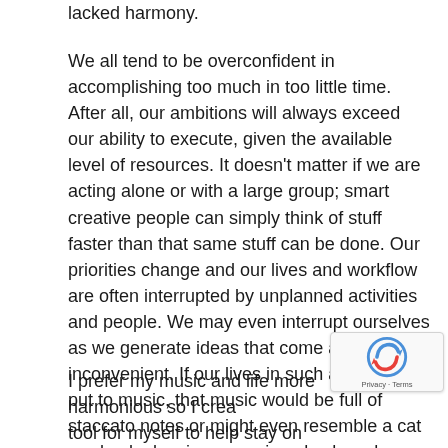lacked harmony.
We all tend to be overconfident in accomplishing too much in too little time. After all, our ambitions will always exceed our ability to execute, given the available level of resources. It doesn't matter if we are acting alone or with a large group; smart creative people can simply think of stuff faster than that same stuff can be done. Our priorities change and our lives and workflow are often interrupted by unplanned activities and people. We may even interrupt ourselves as we generate ideas that come at times inconvenient. If our lives in such a state were put to music, that music would be full of staccato notes or might even resemble a cat randomly dancing on a piano keyboard.
I prefer my music and life more harmonious so I created a tool for myself to help stay on top of my changing priorities, which is Daily Flight Plan, but more on this